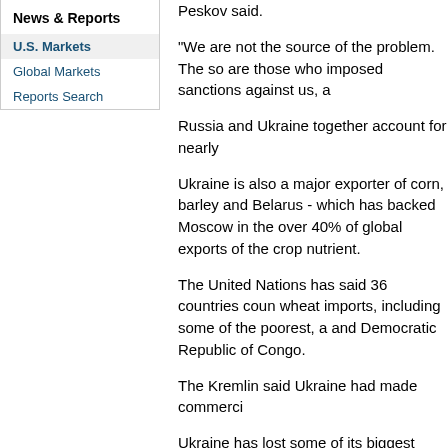News & Reports
U.S. Markets
Global Markets
Reports Search
Peskov said.
"We are not the source of the problem. The so are those who imposed sanctions against us, a
Russia and Ukraine together account for nearly
Ukraine is also a major exporter of corn, barley and Belarus - which has backed Moscow in the over 40% of global exports of the crop nutrient.
The United Nations has said 36 countries coun wheat imports, including some of the poorest, a and Democratic Republic of Congo.
The Kremlin said Ukraine had made commerci
Ukraine has lost some of its biggest seaports - occupation, and fears Russia may try to seize a
Peskov said Russia had not prevented Ukraine method - despite the fact that the West was se
A U.N. food agency official said two weeks ago in Ukraine due to infrastructure challenges and
U.S. Secretary of State Antony Blinken accuse